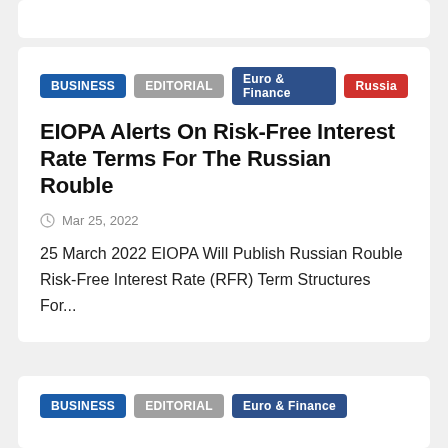[Top card partial — white card area]
BUSINESS | EDITORIAL | Euro & Finance | Russia
EIOPA Alerts On Risk-Free Interest Rate Terms For The Russian Rouble
Mar 25, 2022
25 March 2022 EIOPA Will Publish Russian Rouble Risk-Free Interest Rate (RFR) Term Structures For...
BUSINESS | EDITORIAL | Euro & Finance [bottom card partial]